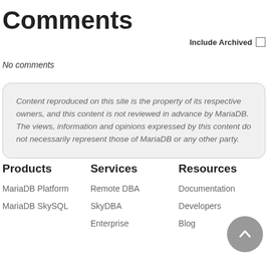Comments
Include Archived
No comments
Content reproduced on this site is the property of its respective owners, and this content is not reviewed in advance by MariaDB. The views, information and opinions expressed by this content do not necessarily represent those of MariaDB or any other party.
Products
MariaDB Platform
MariaDB SkySQL
Services
Remote DBA
SkyDBA
Enterprise
Resources
Documentation
Developers
Blog